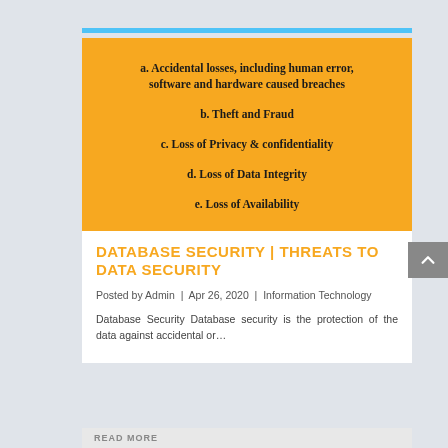[Figure (infographic): Orange background infographic listing database security threats: a. Accidental losses including human error software and hardware caused breaches; b. Theft and Fraud; c. Loss of Privacy & confidentiality; d. Loss of Data Integrity; e. Loss of Availability]
DATABASE SECURITY | THREATS TO DATA SECURITY
Posted by Admin | Apr 26, 2020 | Information Technology
Database Security Database security is the protection of the data against accidental or...